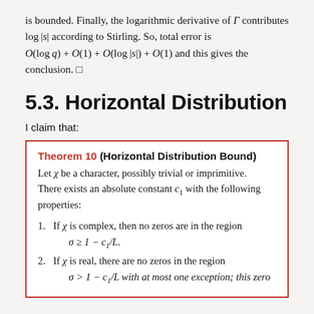is bounded. Finally, the logarithmic derivative of Γ contributes log|s| according to Stirling. So, total error is O(log q) + O(1) + O(log|s|) + O(1) and this gives the conclusion. □
5.3. Horizontal Distribution
I claim that:
Theorem 10 (Horizontal Distribution Bound) Let χ be a character, possibly trivial or imprimitive. There exists an absolute constant c₁ with the following properties: 1. If χ is complex, then no zeros are in the region σ ≥ 1 − c₁/L. 2. If χ is real, there are no zeros in the region σ > 1 − c₁/L with at most one exception; this zero